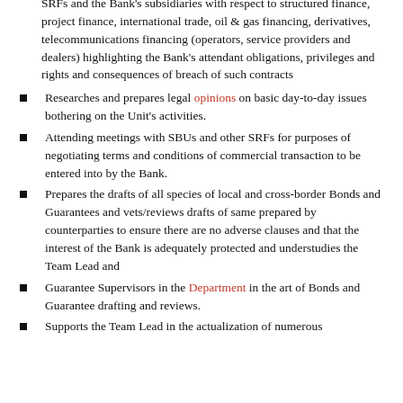SRFs and the Bank's subsidiaries with respect to structured finance, project finance, international trade, oil & gas financing, derivatives, telecommunications financing (operators, service providers and dealers) highlighting the Bank's attendant obligations, privileges and rights and consequences of breach of such contracts
Researches and prepares legal opinions on basic day-to-day issues bothering on the Unit's activities.
Attending meetings with SBUs and other SRFs for purposes of negotiating terms and conditions of commercial transaction to be entered into by the Bank.
Prepares the drafts of all species of local and cross-border Bonds and Guarantees and vets/reviews drafts of same prepared by counterparties to ensure there are no adverse clauses and that the interest of the Bank is adequately protected and understudies the Team Lead and
Guarantee Supervisors in the Department in the art of Bonds and Guarantee drafting and reviews.
Supports the Team Lead in the actualization of numerous contractual matters affecting all commercial transactions and